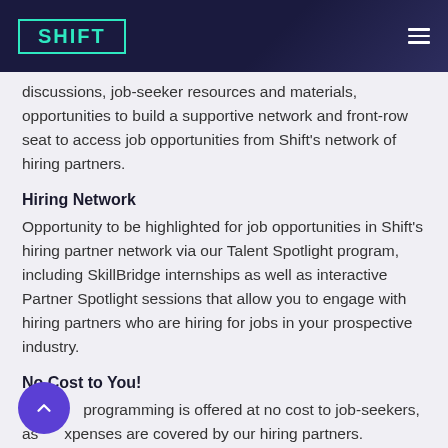SHIFT
discussions, job-seeker resources and materials, opportunities to build a supportive network and front-row seat to access job opportunities from Shift's network of hiring partners.
Hiring Network
Opportunity to be highlighted for job opportunities in Shift's hiring partner network via our Talent Spotlight program, including SkillBridge internships as well as interactive Partner Spotlight sessions that allow you to engage with hiring partners who are hiring for jobs in your prospective industry.
No Cost to You!
All programming is offered at no cost to job-seekers, as these expenses are covered by our hiring partners.